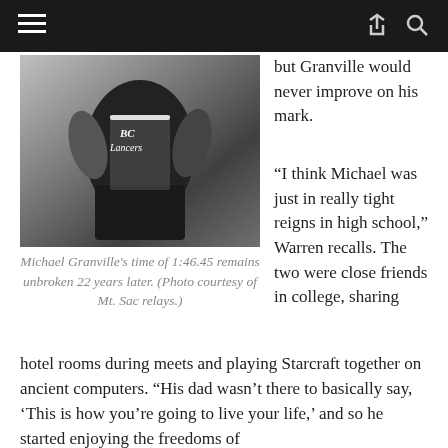[Figure (photo): Black and white photo of Michael Granville wearing a BC Lancers jersey with number 5, a sports action photo]
Michael Granville's time of 1:46.45 remains unbroken 22 years later. (Photo courtesy of Mt. Sac relays.)
but Granville would never improve on his mark.
“I think Michael was just in really tight reigns in high school,” Warren recalls. The two were close friends in college, sharing hotel rooms during meets and playing Starcraft together on ancient computers. “His dad wasn’t there to basically say, ‘This is how you’re going to live your life,’ and so he started enjoying the freedoms of